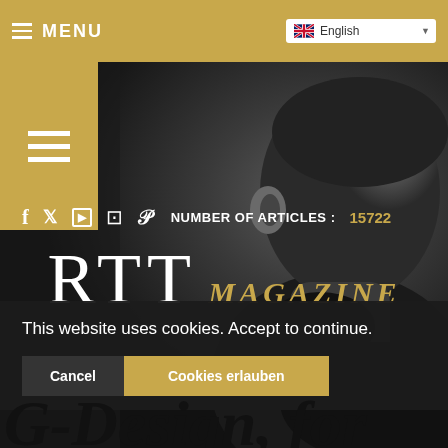MENU   English
[Figure (screenshot): Grayscale portrait photo of a person in profile, used as hero background for RTT Magazine website]
f  twitter  youtube  instagram  pinterest  NUMBER OF ARTICLES : 15722
RTT MAGAZINE
This website uses cookies. Accept to continue.
Cancel   Cookies erlauben
G-Design, for